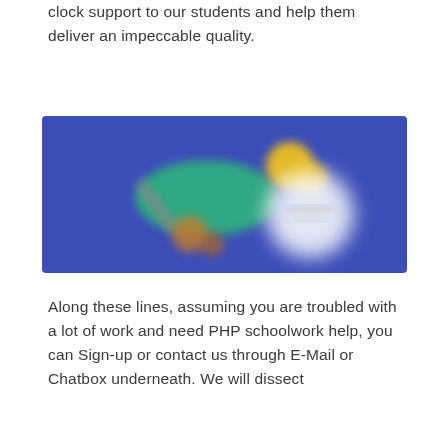clock support to our students and help them deliver an impeccable quality.
[Figure (illustration): Blurred illustration on a blue/indigo background showing abstract objects including what appears to be a green card or book, yellow coins or circles, a pencil or pen, and a white circular badge or seal — suggesting academic or educational assistance.]
Along these lines, assuming you are troubled with a lot of work and need PHP schoolwork help, you can Sign-up or contact us through E-Mail or Chatbox underneath. We will dissect